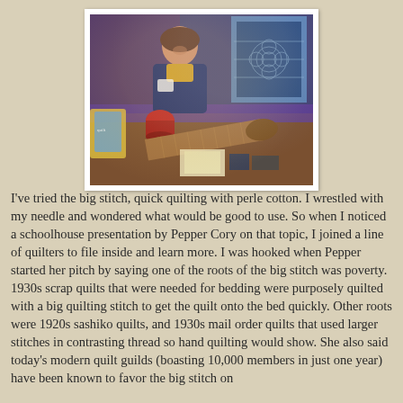[Figure (photo): A woman standing behind a table at what appears to be a quilting show or exhibition. She is smiling, wearing a dark blue jacket over a yellow top with a name badge. On the table are various quilting items including a large brown rolled fabric piece, a red tin, books and materials. Behind her is a blue-framed quilting artwork with geometric patterns.]
I've tried the big stitch, quick quilting with perle cotton. I wrestled with my needle and wondered what would be good to use. So when I noticed a schoolhouse presentation by Pepper Cory on that topic, I joined a line of quilters to file inside and learn more. I was hooked when Pepper started her pitch by saying one of the roots of the big stitch was poverty. 1930s scrap quilts that were needed for bedding were purposely quilted with a big quilting stitch to get the quilt onto the bed quickly. Other roots were 1920s sashiko quilts, and 1930s mail order quilts that used larger stitches in contrasting thread so hand quilting would show. She also said today's modern quilt guilds (boasting 10,000 members in just one year) have been known to favor the big stitch on